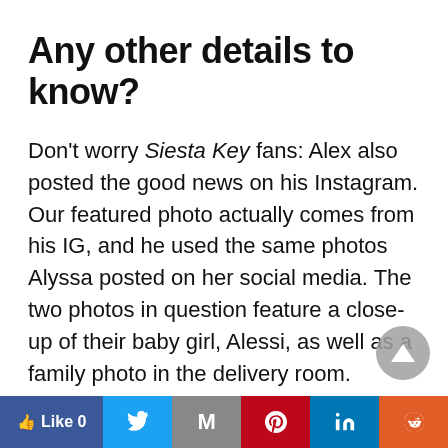Any other details to know?
Don't worry Siesta Key fans: Alex also posted the good news on his Instagram. Our featured photo actually comes from his IG, and he used the same photos Alyssa posted on her social media. The two photos in question feature a close-up of their baby girl, Alessi, as well as a family photo in the delivery room.
Those weren't the first photos they've posted regarding their pregnancy though. Feeling the Vibe reported that Alex shared their pregnancy
Like 0 | Twitter | Gmail | Pinterest | LinkedIn | Reddit